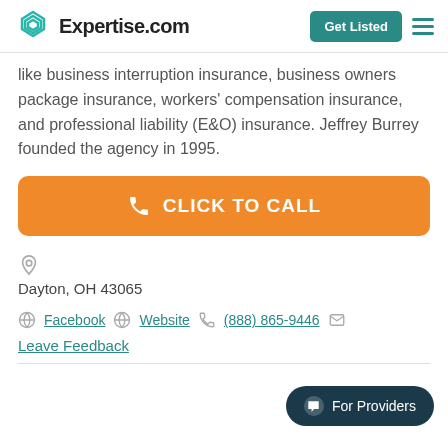Expertise.com | Get Listed
like business interruption insurance, business owners package insurance, workers' compensation insurance, and professional liability (E&O) insurance. Jeffrey Burrey founded the agency in 1995.
[Figure (other): Orange button with phone icon and text CLICK TO CALL]
Dayton, OH 43065
Facebook | Website | (888) 865-9446
Leave Feedback
[Figure (other): Dark teal pill button reading For Providers with chat icon]